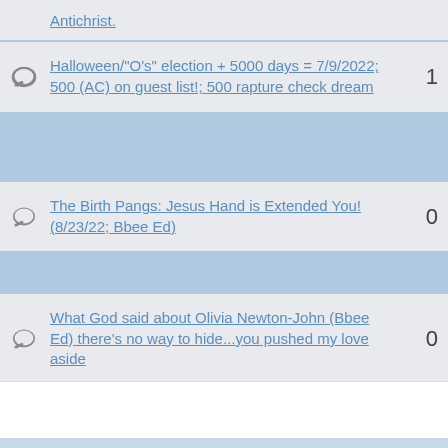Halloween/"O's" election + 5000 days = 7/9/2022; 500 (AC) on guest list!; 500 rapture check dream
The Birth Pangs: Jesus Hand is Extended You! (8/23/22; Bbee Ed)
What God said about Olivia Newton-John (Bbee Ed) there's no way to hide...you pushed my love aside
DOUBLE (2X) CONFIRMATION: 7 Good years "END NOW" (wallytron101) ++ 7 2022 moons "END NOW"!